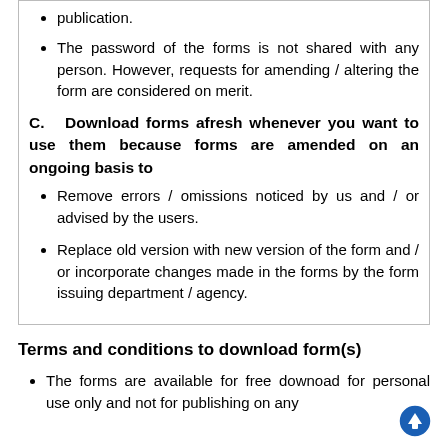publication.
The password of the forms is not shared with any person. However, requests for amending / altering the form are considered on merit.
C.   Download forms afresh whenever you want to use them because forms are amended on an ongoing basis to
Remove errors / omissions noticed by us and / or advised by the users.
Replace old version with new version of the form and / or incorporate changes made in the forms by the form issuing department / agency.
Terms and conditions to download form(s)
The forms are available for free downoad for personal use only and not for publishing on any